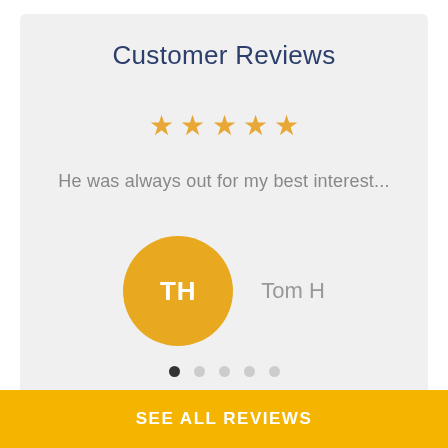Customer Reviews
[Figure (other): Five gold/orange star rating icons indicating a 5-star review]
He was always out for my best interest...
[Figure (other): Gold circular avatar with white initials TH representing reviewer Tom H, next to the name Tom H]
[Figure (other): Carousel navigation dots: 5 dots, first dot is filled/dark, rest are light grey]
SEE ALL REVIEWS